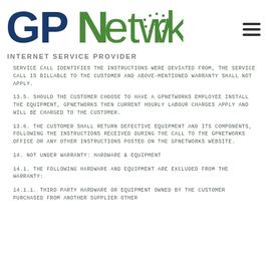[Figure (logo): GPNetworks Internet Service Provider logo with hamburger menu icon]
SERVICE CALL IDENTIFIES THE INSTRUCTIONS WERE DEVIATED FROM, THE SERVICE CALL IS BILLABLE TO THE CUSTOMER AND ABOVE-MENTIONED WARRANTY SHALL NOT APPLY.
13.5. SHOULD THE CUSTOMER CHOOSE TO HAVE A GPNETWORKS EMPLOYEE INSTALL THE EQUIPMENT, GPNETWORKS THEN CURRENT HOURLY LABOUR CHARGES APPLY AND WILL BE CHARGED TO THE CUSTOMER.
13.6. THE CUSTOMER SHALL RETURN DEFECTIVE EQUIPMENT AND ITS COMPONENTS, FOLLOWING THE INSTRUCTIONS RECEIVED DURING THE CALL TO THE GPNETWORKS OFFICE OR ANY OTHER INSTRUCTIONS POSTED ON THE GPNETWORKS WEBSITE.
14. NOT UNDER WARRANTY: HARDWARE & EQUIPMENT
14.1. THE FOLLOWING HARDWARE AND EQUIPMENT ARE EXCLUDED FROM THE WARRANTY:
14.1.1. THIRD PARTY HARDWARE OR EQUIPMENT OWNED BY THE CUSTOMER PURCHASED FROM ANOTHER SUPPLIER OTHER